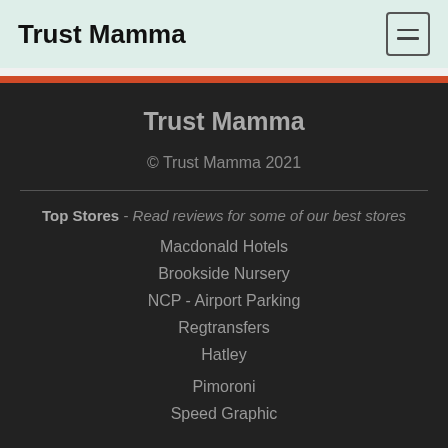Trust Mamma
Trust Mamma
© Trust Mamma 2021
Top Stores - Read reviews for some of our best stores
Macdonald Hotels
Brookside Nursery
NCP - Airport Parking
Regtransfers
Hatley
Pimoroni
Speed Graphic